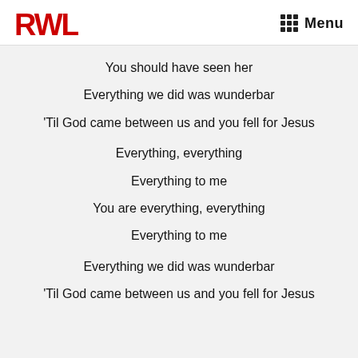RWL  Menu
You should have seen her
Everything we did was wunderbar
'Til God came between us and you fell for Jesus
Everything, everything
Everything to me
You are everything, everything
Everything to me
Everything we did was wunderbar
'Til God came between us and you fell for Jesus